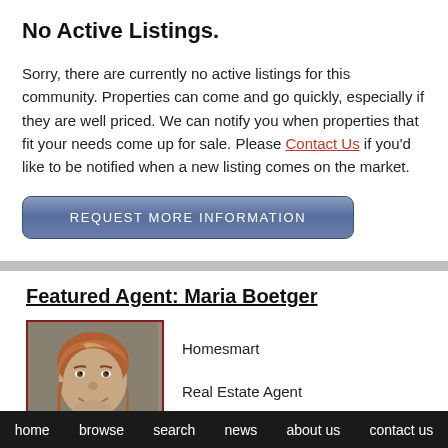No Active Listings.
Sorry, there are currently no active listings for this community. Properties can come and go quickly, especially if they are well priced. We can notify you when properties that fit your needs come up for sale. Please Contact Us if you'd like to be notified when a new listing comes on the market.
REQUEST MORE INFORMATION
Featured Agent: Maria Boetger
[Figure (photo): Headshot photo of Maria Boetger, a female real estate agent with medium-length reddish-brown hair, smiling, wearing dark clothing, with a red border frame]
Homesmart
Real Estate Agent
Phone: 480-329-5926

I've been involved in the real estate
home   browse   search   news   about us   contact us